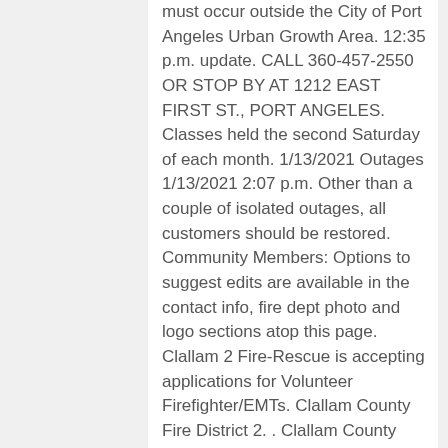must occur outside the City of Port Angeles Urban Growth Area. 12:35 p.m. update. CALL 360-457-2550 OR STOP BY AT 1212 EAST FIRST ST., PORT ANGELES. Classes held the second Saturday of each month. 1/13/2021 Outages 1/13/2021 2:07 p.m. Other than a couple of isolated outages, all customers should be restored. Community Members: Options to suggest edits are available in the contact info, fire dept photo and logo sections atop this page. Clallam 2 Fire-Rescue is accepting applications for Volunteer Firefighter/EMTs. Clallam County Fire District 2. . Clallam County District Court - 2 Local Rules for Clallam County District Court II Table of Rules I. . Menu & Reservations Make Reservations . Clallam PUD News. This is a great opportunity to help your community and neighbors. Facebook. If you're a current employee or volunteer, APPLY TO MANAGE this profile, add photos & keep your fire dept up to date. QuickFacts provides statistics for all states and counties, and for cities and towns with a population of 5,000 or more. 2. FORKS — District Court 2 Judge Erik Rohrer, elected to the part-time position in 2018 following a hard-fought contest against John Black, is resigning effective Feb. 1, two years before his term